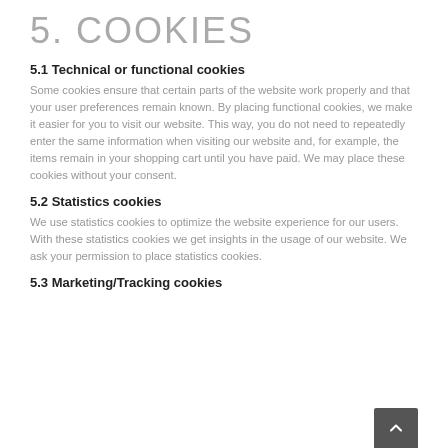5. COOKIES
5.1 Technical or functional cookies
Some cookies ensure that certain parts of the website work properly and that your user preferences remain known. By placing functional cookies, we make it easier for you to visit our website. This way, you do not need to repeatedly enter the same information when visiting our website and, for example, the items remain in your shopping cart until you have paid. We may place these cookies without your consent.
5.2 Statistics cookies
We use statistics cookies to optimize the website experience for our users. With these statistics cookies we get insights in the usage of our website. We ask your permission to place statistics cookies.
5.3 Marketing/Tracking cookies